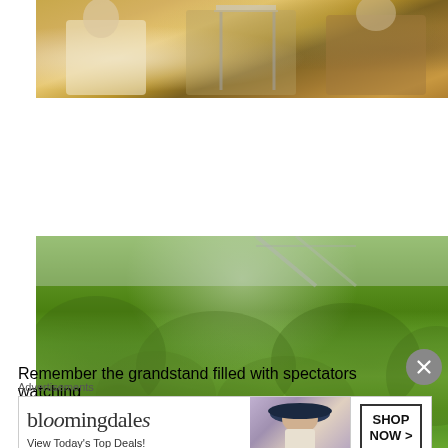[Figure (photo): Photo of people seated outdoors, wearing yellow and white clothing, with a table visible]
[Figure (photo): Photo of dense green tree canopy with a bridge structure visible in the background]
Remember the grandstand filled with spectators watching
[Figure (other): Advertisement banner for Bloomingdale's showing logo, 'View Today's Top Deals!' tagline, a woman in a wide-brimmed hat, and a 'SHOP NOW >' button]